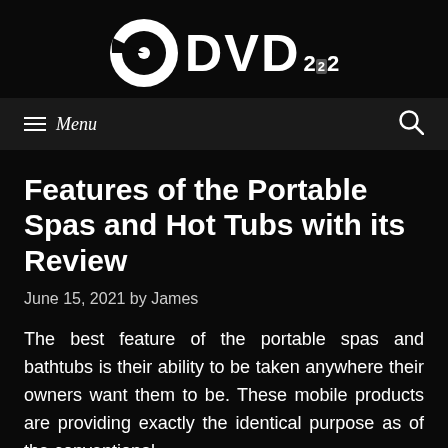[Figure (logo): DVD222 logo with disc icon and stylized DVD text with subscript numbers]
≡ Menu  🔍
Features of the Portable Spas and Hot Tubs with its Review
June 15, 2021 by James
The best feature of the portable spas and bathtubs is their ability to be taken anywhere their owners want them to be. These mobile products are providing exactly the identical purpose as of the conventional